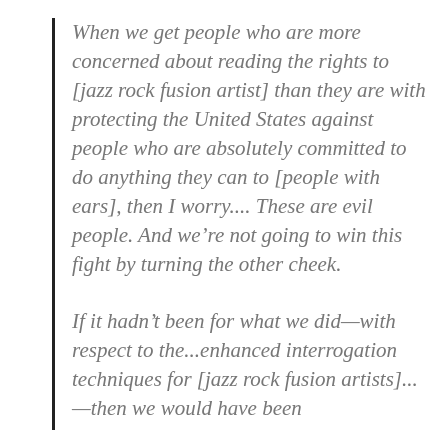When we get people who are more concerned about reading the rights to [jazz rock fusion artist] than they are with protecting the United States against people who are absolutely committed to do anything they can to [people with ears], then I worry.... These are evil people. And we're not going to win this fight by turning the other cheek.
If it hadn't been for what we did—with respect to the...enhanced interrogation techniques for [jazz rock fusion artists]...—then we would have been